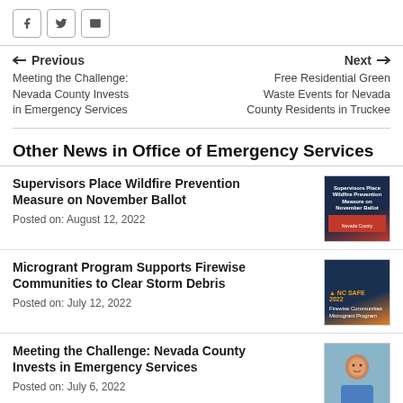[Figure (other): Social media share buttons: Facebook, Twitter, Email]
← Previous
Meeting the Challenge: Nevada County Invests in Emergency Services
Next →
Free Residential Green Waste Events for Nevada County Residents in Truckee
Other News in Office of Emergency Services
Supervisors Place Wildfire Prevention Measure on November Ballot
Posted on: August 12, 2022
[Figure (illustration): Dark blue thumbnail with text: Supervisors Place Wildfire Prevention Measure on November Ballot]
Microgrant Program Supports Firewise Communities to Clear Storm Debris
Posted on: July 12, 2022
[Figure (illustration): Dark blue and orange thumbnail with Firewise Communities Microgrant Program text]
Meeting the Challenge: Nevada County Invests in Emergency Services
Posted on: July 6, 2022
[Figure (photo): Photo of a man in a blue shirt]